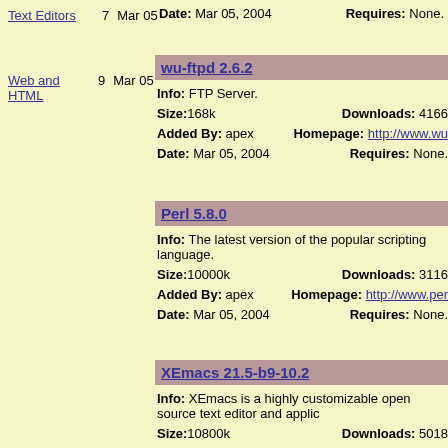Text Editors  7  Mar 05
Web and HTML  9  Mar 05
Date: Mar 05, 2004   Requires: None.
wu-ftpd 2.6.2
Info: FTP Server.
Size: 168k   Downloads: 4166
Added By: apex   Homepage: http://www.wu...
Date: Mar 05, 2004   Requires: None.
Perl 5.8.0
Info: The latest version of the popular scripting language.
Size: 10000k   Downloads: 3116
Added By: apex   Homepage: http://www.per...
Date: Mar 05, 2004   Requires: None.
XEmacs 21.5-b9-10.2
Info: XEmacs is a highly customizable open source text editor and applic...
Size: 10800k   Downloads: 5018
Added By: apex   Homepage: http://www.xer...